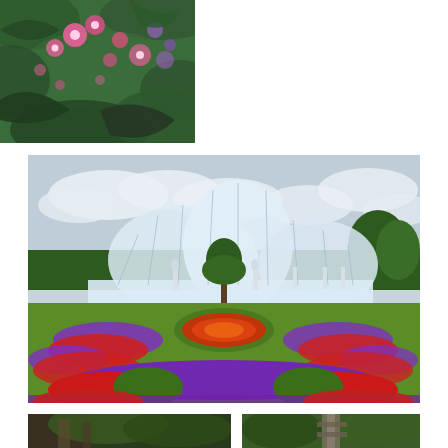[Figure (photo): Close-up photograph of pink and purple flowers with green foliage, bokeh background, positioned in the top-right area of the page.]
[Figure (photo): Wide photograph of a large Victorian glass greenhouse (Palm House at Kew Gardens) with elaborate formal flower gardens in the foreground featuring red, purple, and other colorful blooms arranged in geometric patterns on a green lawn, with statues and hedges visible.]
[Figure (photo): Close-up photograph of a stone architectural ruin or wall covered with tropical green foliage and vines, bottom-left of page.]
[Figure (photo): Photograph of an ornate Victorian iron structure or lantern/pillar inside a greenhouse, surrounded by tropical plants including banana leaves and palm fronds, bottom-right of page.]